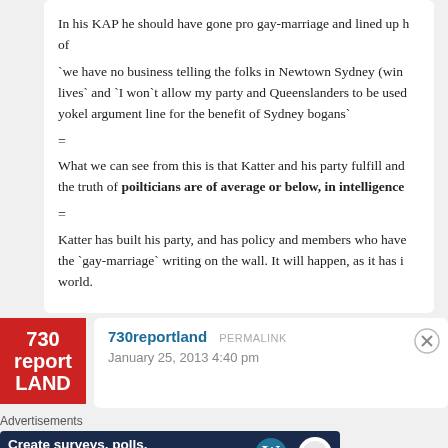In his KAP he should have gone pro gay-marriage and lined up h of `we have no business telling the folks in Newtown Sydney (win lives` and `I won`t allow my party and Queenslanders to be used yokel argument line for the benefit of Sydney bogans`
=
What we can see from this is that Katter and his party fulfill and the truth of poilticians are of average or below, in intelligence
=
Katter has built his party, and has policy and members who have the `gay-marriage` writing on the wall. It will happen, as it has i world.
730reportland  PERMALINK
January 25, 2013 4:40 pm
[Figure (screenshot): Advertisement banner: Create surveys, polls, quizzes, and forms. with WordPress and SurveyAnyplace logos]
Advertisements